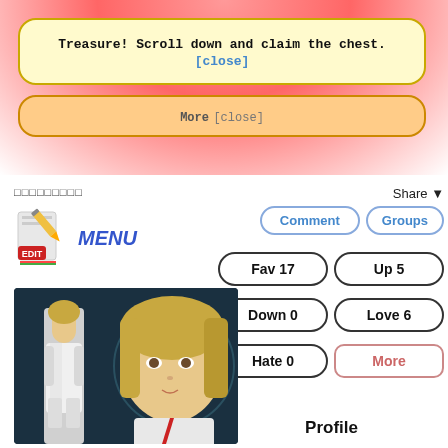Treasure! Scroll down and claim the chest.
[close]
More [close]
□□□□□□□□□
Share ▼
[Figure (illustration): Edit icon with pencil and EDIT label]
MENU
Comment
Groups
Fav 17
Up 5
Down 0
Love 6
Hate 0
More
[Figure (illustration): Anime character artwork showing two female characters in white uniforms on a dark teal background]
Profile